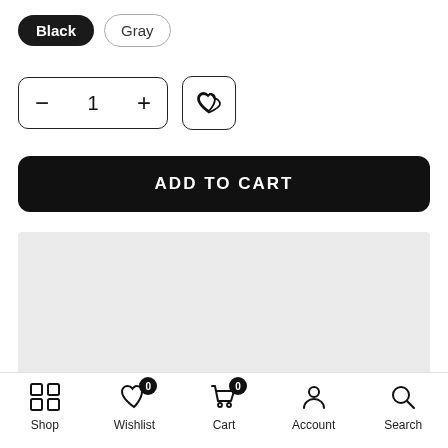Black | Gray (color selector buttons)
[Figure (screenshot): Quantity selector control with minus, 1, plus buttons and a wishlist heart button]
ADD TO CART
[Figure (other): Gray content/image placeholder area]
Ask a Question
Shop | Wishlist (0) | Cart (0) | Account | Search